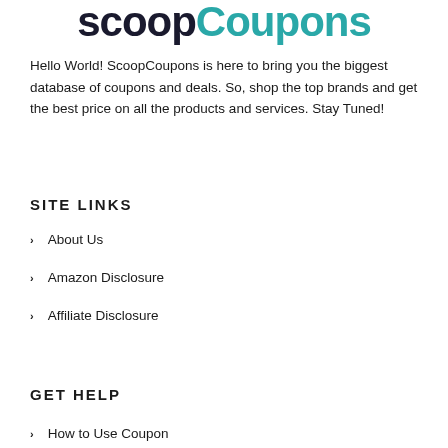ScoopCoupons
Hello World! ScoopCoupons is here to bring you the biggest database of coupons and deals. So, shop the top brands and get the best price on all the products and services. Stay Tuned!
SITE LINKS
About Us
Amazon Disclosure
Affiliate Disclosure
GET HELP
How to Use Coupon